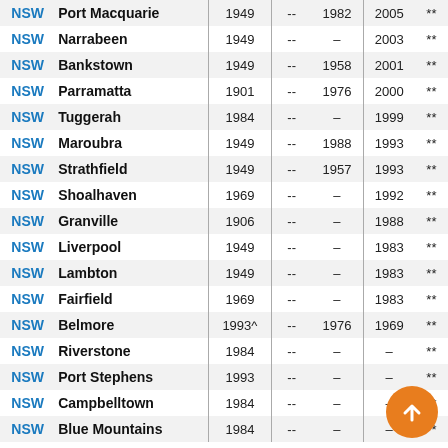| State | City | Col1 | Col2 | Col3 | Col4 | Notes |
| --- | --- | --- | --- | --- | --- | --- |
| NSW | Port Macquarie | 1949 | -- | 1982 | 2005 | ** |
| NSW | Narrabeen | 1949 | -- | -- | 2003 | ** |
| NSW | Bankstown | 1949 | -- | 1958 | 2001 | ** |
| NSW | Parramatta | 1901 | -- | 1976 | 2000 | ** |
| NSW | Tuggerah | 1984 | -- | -- | 1999 | ** |
| NSW | Maroubra | 1949 | -- | 1988 | 1993 | ** |
| NSW | Strathfield | 1949 | -- | 1957 | 1993 | ** |
| NSW | Shoalhaven | 1969 | -- | -- | 1992 | ** |
| NSW | Granville | 1906 | -- | -- | 1988 | ** |
| NSW | Liverpool | 1949 | -- | -- | 1983 | ** |
| NSW | Lambton | 1949 | -- | -- | 1983 | ** |
| NSW | Fairfield | 1969 | -- | -- | 1983 | ** |
| NSW | Belmore | 1993^ | -- | 1976 | 1969 | ** |
| NSW | Riverstone | 1984 | -- | -- | -- | ** |
| NSW | Port Stephens | 1993 | -- | -- | -- | ** |
| NSW | Campbelltown | 1984 | -- | -- | -- | ** |
| NSW | Blue Mountains | 1984 | -- | -- | -- | ** |